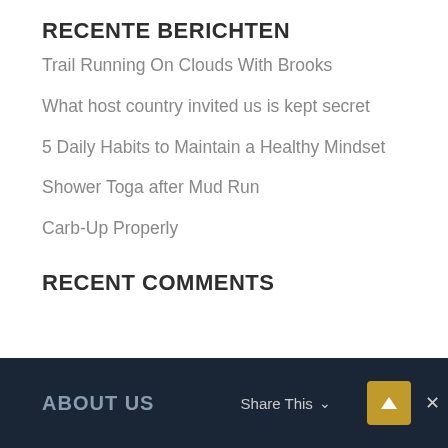RECENTE BERICHTEN
Trail Running On Clouds With Brooks
What host country invited us is kept secret
5 Daily Habits to Maintain a Healthy Mindset
Shower Toga after Mud Run
Carb-Up Properly
RECENT COMMENTS
ABOUT US   Share This ˅